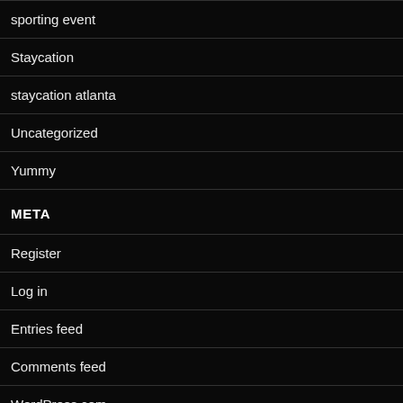sporting event
Staycation
staycation atlanta
Uncategorized
Yummy
META
Register
Log in
Entries feed
Comments feed
WordPress.com